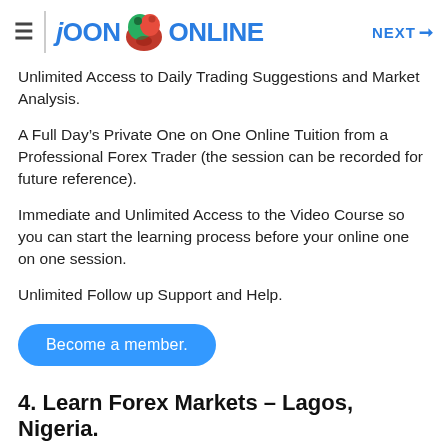JOON ONLINE  NEXT →
Unlimited Access to Daily Trading Suggestions and Market Analysis.
A Full Day's Private One on One Online Tuition from a Professional Forex Trader (the session can be recorded for future reference).
Immediate and Unlimited Access to the Video Course so you can start the learning process before your online one on one session.
Unlimited Follow up Support and Help.
Become a member.
4. Learn Forex Markets – Lagos, Nigeria.